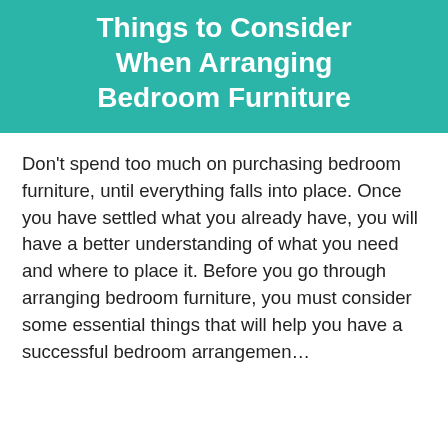Things to Consider When Arranging Bedroom Furniture
Don't spend too much on purchasing bedroom furniture, until everything falls into place. Once you have settled what you already have, you will have a better understanding of what you need and where to place it. Before you go through arranging bedroom furniture, you must consider some essential things that will help you have a successful bedroom arrangemen...